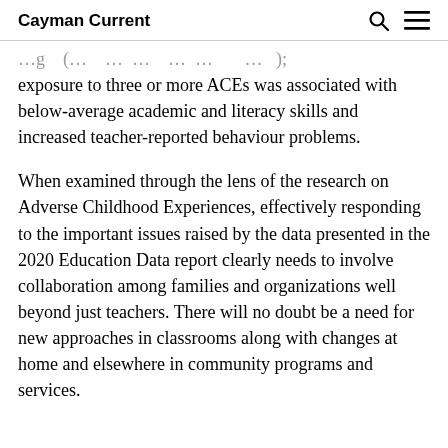Cayman Current
…g … ( … … … … , … ) ; exposure to three or more ACEs was associated with below-average academic and literacy skills and increased teacher-reported behaviour problems.
When examined through the lens of the research on Adverse Childhood Experiences, effectively responding to the important issues raised by the data presented in the 2020 Education Data report clearly needs to involve collaboration among families and organizations well beyond just teachers. There will no doubt be a need for new approaches in classrooms along with changes at home and elsewhere in community programs and services.